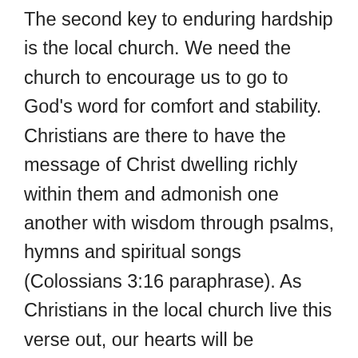The second key to enduring hardship is the local church. We need the church to encourage us to go to God's word for comfort and stability. Christians are there to have the message of Christ dwelling richly within them and admonish one another with wisdom through psalms, hymns and spiritual songs (Colossians 3:16 paraphrase). As Christians in the local church live this verse out, our hearts will be encouraged to look to Christ and to His word for comfort and encouragement. The church also helps remind us of God's great love and sacrifice to make a people for himself. That is why it